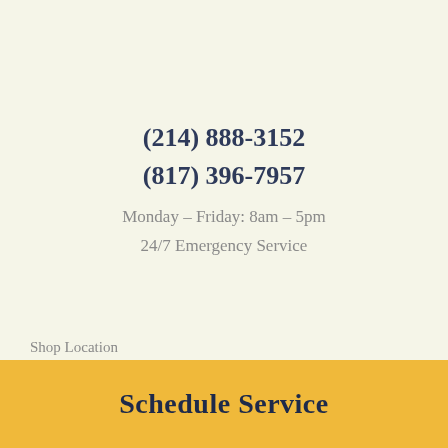(214) 888-3152
(817) 396-7957
Monday – Friday: 8am – 5pm
24/7 Emergency Service
Shop Location
Schedule Service